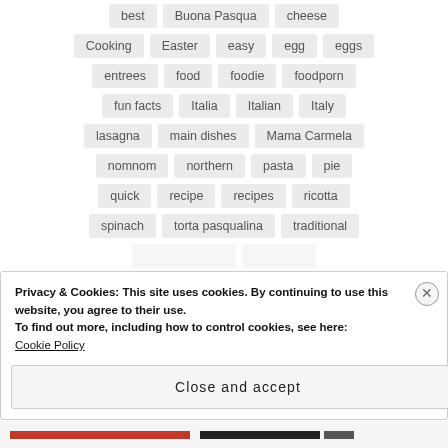best
Buona Pasqua
cheese
Cooking
Easter
easy
egg
eggs
entrees
food
foodie
foodporn
fun facts
Italia
Italian
Italy
lasagna
main dishes
Mama Carmela
nomnom
northern
pasta
pie
quick
recipe
recipes
ricotta
spinach
torta pasqualina
traditional
Privacy & Cookies: This site uses cookies. By continuing to use this website, you agree to their use.
To find out more, including how to control cookies, see here: Cookie Policy
Close and accept